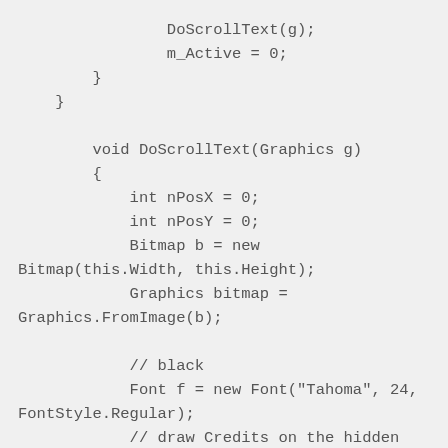DoScrollText(g);
            m_Active = 0;
        }
    }

        void DoScrollText(Graphics g)
        {
            int nPosX = 0;
            int nPosY = 0;
            Bitmap b = new Bitmap(this.Width, this.Height);
            Graphics bitmap = Graphics.FromImage(b);

            // black
            Font f = new Font("Tahoma", 24, FontStyle.Regular);
            // draw Credits on the hidden Picture
            for (int i = 0; i < m_TextLines.Length; i++)